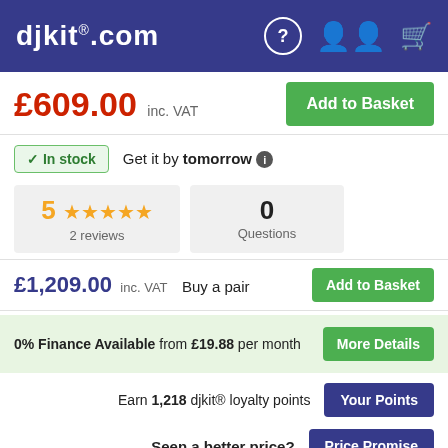djkit.com
£609.00 inc. VAT
Add to Basket
In stock  Get it by tomorrow
5 ★★★★★  2 reviews
0 Questions
£1,209.00 inc. VAT  Buy a pair  Add to Basket
0% Finance Available from £19.88 per month  More Details
Earn 1,218 djkit® loyalty points  Your Points
Seen a better price?  Price Promise
SKU: DJK29839  •  EAN: 08024530014971